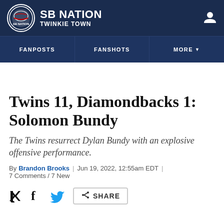SB NATION | TWINKIE TOWN
FANPOSTS | FANSHOTS | MORE
Twins 11, Diamondbacks 1: Solomon Bundy
The Twins resurrect Dylan Bundy with an explosive offensive performance.
By Brandon Brooks | Jun 19, 2022, 12:55am EDT | 7 Comments / 7 New
SHARE